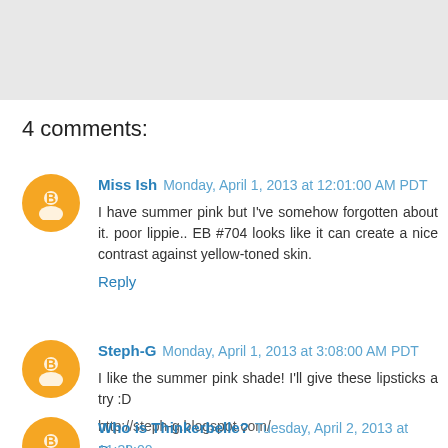[Figure (other): Gray banner/header area at top of page]
4 comments:
Miss Ish  Monday, April 1, 2013 at 12:01:00 AM PDT
I have summer pink but I've somehow forgotten about it. poor lippie.. EB #704 looks like it can create a nice contrast against yellow-toned skin.
Reply
Steph-G  Monday, April 1, 2013 at 3:08:00 AM PDT
I like the summer pink shade! I'll give these lipsticks a try :D
http://steph-g.blogspot.com/
Reply
Who is Thinkerbelle?  Tuesday, April 2, 2013 at 11:33:00